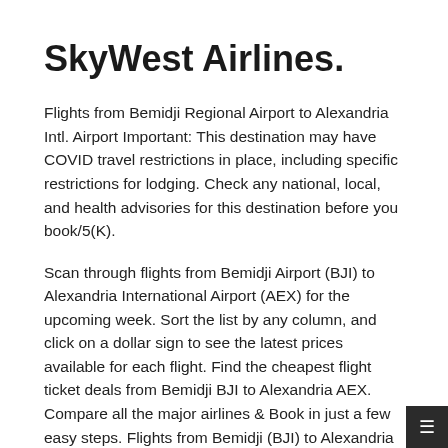SkyWest Airlines.
Flights from Bemidji Regional Airport to Alexandria Intl. Airport Important: This destination may have COVID travel restrictions in place, including specific restrictions for lodging. Check any national, local, and health advisories for this destination before you book/5(K).
Scan through flights from Bemidji Airport (BJI) to Alexandria International Airport (AEX) for the upcoming week. Sort the list by any column, and click on a dollar sign to see the latest prices available for each flight. Find the cheapest flight ticket deals from Bemidji BJI to Alexandria AEX. Compare all the major airlines & Book in just a few easy steps. Flights from Bemidji (BJI) to Alexandria (AEX) - on Mobile Site x. Compare airfares and find cheap direct flights and round trip flights to Alexandria, Alexandria International Airport [Louisiana] (AEX) From Bemidji (BJI).
Airline ticket deals to Alexandria, Alexandria International Airp…